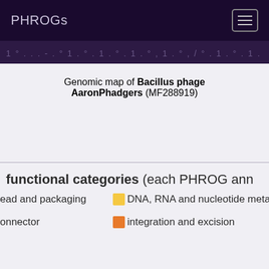PHROGs
Genomic map of Bacillus phage AaronPhadgers (MF288919)
functional categories (each PHROG ann…
head and packaging
DNA, RNA and nucleotide metabolis…
connector
integration and excision
il
lysis